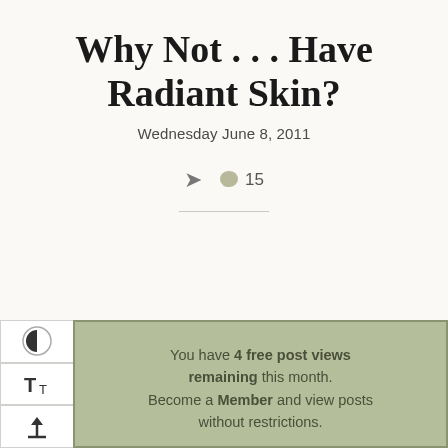Why Not . . . Have Radiant Skin?
Wednesday June 8, 2011
15
You have 4 free post views remaining this month. Become a Member and view posts without restrictions.